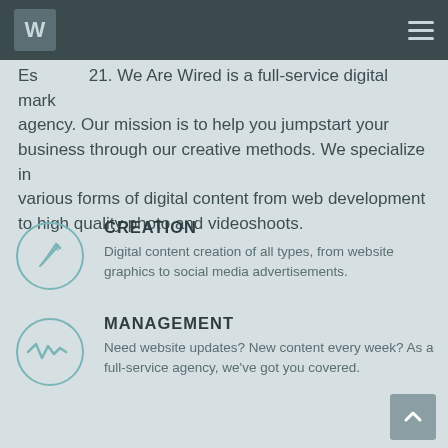W (logo) | hamburger menu
Es[tablished 20]21. We Are Wired is a full-service digital marketing agency. Our mission is to help you jumpstart your business through our creative methods. We specialize in various forms of digital content from web development to high quality photo and videoshoots.
[Figure (illustration): Teal circle icon with a pencil/edit symbol inside]
CREATION
Digital content creation of all types, from website graphics to social media advertisements.
[Figure (illustration): Teal circle icon with a waveform/management symbol inside]
MANAGEMENT
Need website updates? New content every week? As a full-service agency, we've got you covered.